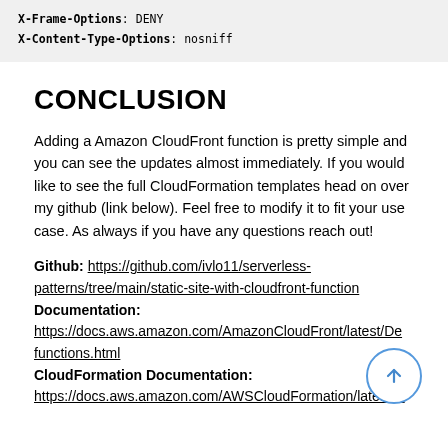X-Frame-Options: DENY
X-Content-Type-Options: nosniff
CONCLUSION
Adding a Amazon CloudFront function is pretty simple and you can see the updates almost immediately. If you would like to see the full CloudFormation templates head on over my github (link below). Feel free to modify it to fit your use case. As always if you have any questions reach out!
Github: https://github.com/ivlo11/serverless-patterns/tree/main/static-site-with-cloudfront-function
Documentation:
https://docs.aws.amazon.com/AmazonCloudFront/latest/De...functions.html
CloudFormation Documentation:
https://docs.aws.amazon.com/AWSCloudFormation/latest/U...